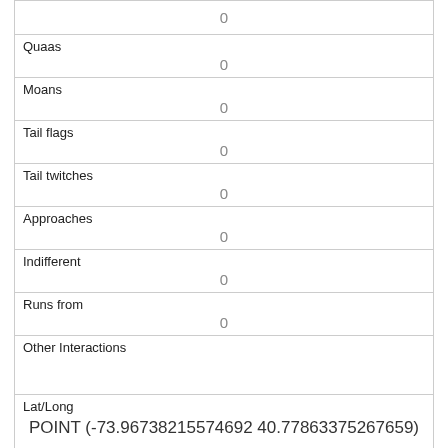| 0 |
| Quaas | 0 |
| Moans | 0 |
| Tail flags | 0 |
| Tail twitches | 0 |
| Approaches | 0 |
| Indifferent | 0 |
| Runs from | 0 |
| Other Interactions |  |
| Lat/Long | POINT (-73.96738215574692 40.77863375267659) |